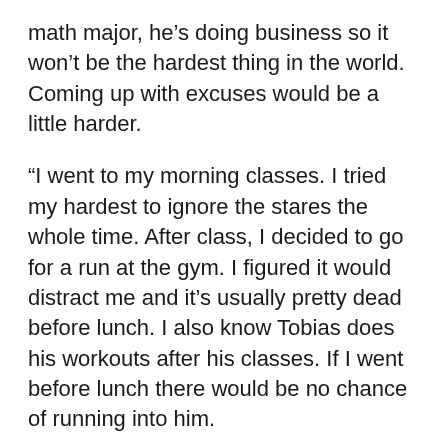math major, he's doing business so it won't be the hardest thing in the world. Coming up with excuses would be a little harder.
“I went to my morning classes. I tried my hardest to ignore the stares the whole time. After class, I decided to go for a run at the gym. I figured it would distract me and it’s usually pretty dead before lunch. I also know Tobias does his workouts after his classes. If I went before lunch there would be no chance of running into him.
“I get to the gym and change. I received fewer stares in the locker room since most people are pretending not to see each other anyway. There were only four other people on the second floor. All of them were streaming video on their phones, pretending to do cardio. I clipped on my earphones and started running.